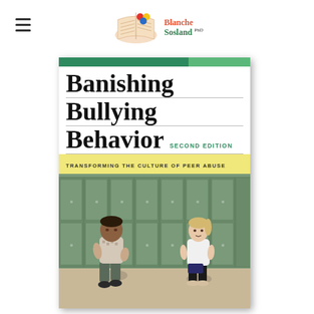[Figure (logo): Blanche Sosland PhD logo with open book graphic and colorful circles]
[Figure (illustration): Book cover of 'Banishing Bullying Behavior Second Edition: Transforming the Culture of Peer Abuse' by SuEllen Fried and Blanche Sosland, Foreword by James Garbarino. Cover shows two children sitting apart by school lockers.]